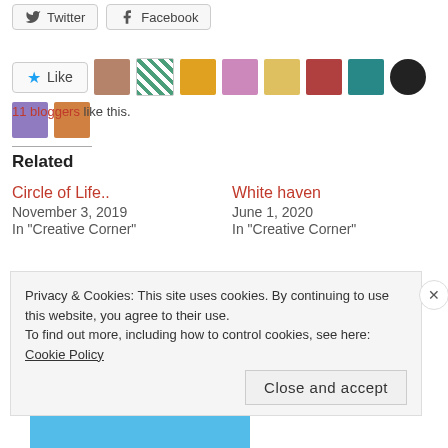[Figure (screenshot): Social share buttons: Twitter and Facebook]
[Figure (screenshot): Like button with star icon and 10 blogger avatar thumbnails]
11 bloggers like this.
Related
Circle of Life..
November 3, 2019
In "Creative Corner"
White haven
June 1, 2020
In "Creative Corner"
Go Bananas!
March 20, 2019
In "Creative Corner"
Privacy & Cookies: This site uses cookies. By continuing to use this website, you agree to their use.
To find out more, including how to control cookies, see here: Cookie Policy
Close and accept